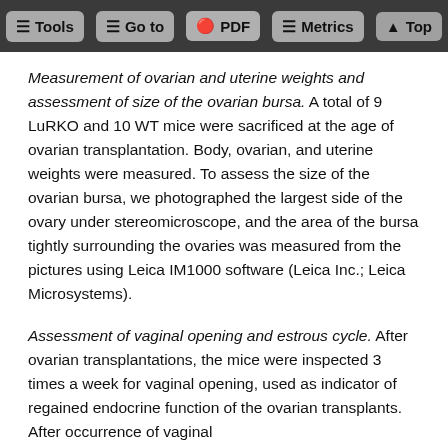Tools | Go to | PDF | Metrics | Top
Measurement of ovarian and uterine weights and assessment of size of the ovarian bursa. A total of 9 LuRKO and 10 WT mice were sacrificed at the age of ovarian transplantation. Body, ovarian, and uterine weights were measured. To assess the size of the ovarian bursa, we photographed the largest side of the ovary under stereomicroscope, and the area of the bursa tightly surrounding the ovaries was measured from the pictures using Leica IM1000 software (Leica Inc.; Leica Microsystems).
Assessment of vaginal opening and estrous cycle. After ovarian transplantations, the mice were inspected 3 times a week for vaginal opening, used as indicator of regained endocrine function of the ovarian transplants. After occurrence of vaginal